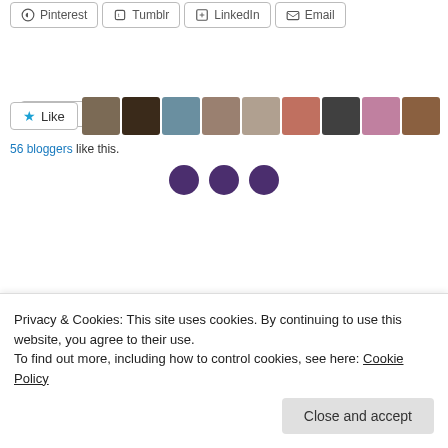[Figure (screenshot): Social share buttons row: Pinterest, Tumblr, LinkedIn, Email]
[Figure (screenshot): Print button]
[Figure (screenshot): Like button with 9 blogger avatar thumbnails]
56 bloggers like this.
[Figure (other): Three dark purple circles as decorative divider]
Privacy & Cookies: This site uses cookies. By continuing to use this website, you agree to their use.
To find out more, including how to control cookies, see here: Cookie Policy
Close and accept